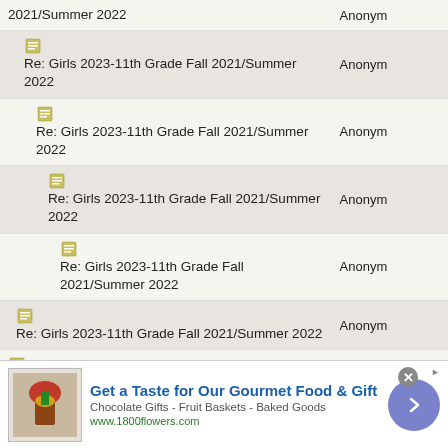| Topic | Author |
| --- | --- |
| 2021/Summer 2022 | Anonym |
| Re: Girls 2023-11th Grade Fall 2021/Summer 2022 | Anonym |
| Re: Girls 2023-11th Grade Fall 2021/Summer 2022 | Anonym |
| Re: Girls 2023-11th Grade Fall 2021/Summer 2022 | Anonym |
| Re: Girls 2023-11th Grade Fall 2021/Summer 2022 | Anonym |
| Re: Girls 2023-11th Grade Fall 2021/Summer 2022 | Anonym |
| Re: Girls 2023-11th Grade Fall 2021/Summer 2022 | Anonym |
| Re: Girls 2023-11th Grade Fall 2021/Summer 2022 | Anonym |
| Re: Girls 2023-11th Grade Fall 2021/Summer 2022 | Anonym |
| Re: Girls 2023-11th Grade Fall 2021/Summer | Anonym |
[Figure (infographic): Advertisement banner for 1800flowers.com - Get a Taste for Our Gourmet Food & Gift. Chocolate Gifts - Fruit Baskets - Baked Goods. www.1800flowers.com]